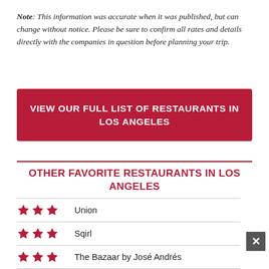Note: This information was accurate when it was published, but can change without notice. Please be sure to confirm all rates and details directly with the companies in question before planning your trip.
VIEW OUR FULL LIST OF RESTAURANTS IN LOS ANGELES
OTHER FAVORITE RESTAURANTS IN LOS ANGELES
★★★ Union
★★★ Sqirl
★★★ The Bazaar by José Andrés
★★★ Musso & Frank Grill
★★★ Craft Los Angeles